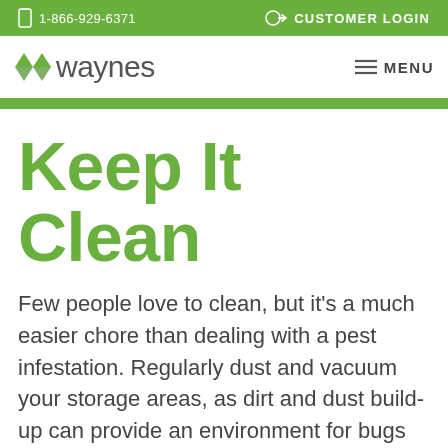1-866-929-6371  CUSTOMER LOGIN
[Figure (logo): Waynes pest control logo with green leaf icon and gray 'waynes' text]
Keep It Clean
Few people love to clean, but it's a much easier chore than dealing with a pest infestation. Regularly dust and vacuum your storage areas, as dirt and dust build-up can provide an environment for bugs to thrive. Sweep up cobwebs as well, but don't be afraid to let a harmless